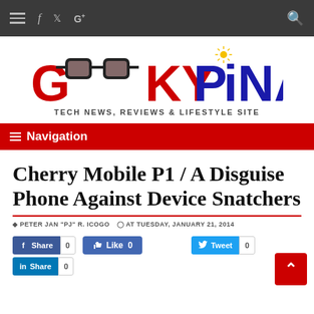≡ f t G+  [search icon]
[Figure (logo): GeekyPinas logo — GEEKY in red with glasses icon, PINAS in blue with sun icon, tagline: TECH NEWS, REVIEWS & LIFESTYLE SITE]
≡ Navigation
Cherry Mobile P1 / A Disguise Phone Against Device Snatchers
PETER JAN "PJ" R. ICOGO  AT TUESDAY, JANUARY 21, 2014
Share 0  Like 0  Share 0 (LinkedIn)  Tweet 0